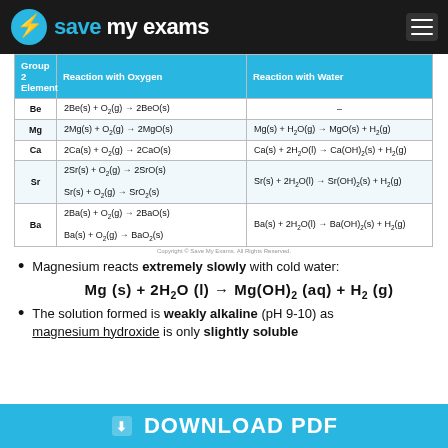Save My Exams
| Group 2 Element | Reaction with Oxygen | Reaction with Water |
| --- | --- | --- |
| Be | 2Be(s) + O2(g) → 2BeO(s) | – |
| Mg | 2Mg(s) + O2(g) → 2MgO(s) | Mg(s) + H2O(g) → MgO(s) + H2(g) |
| Ca | 2Ca(s) + O2(g) → 2CaO(s) | Ca(s) + 2H2O(l) → Ca(OH)2(s) + H2(g) |
| Sr | 2Sr(s) + O2(g) → 2SrO(s)
Sr(s) + O2(g) → SrO2(s) | Sr(s) + 2H2O(l) → Sr(OH)2(s) + H2(g) |
| Ba | 2Ba(s) + O2(g) → 2BaO(s)
Ba(s) + O2(g) → BaO2(s) | Ba(s) + 2H2O(l) → Ba(OH)2(s) + H2(g) |
Copyright © Save My Exams. All Rights Reserved.
Magnesium reacts extremely slowly with cold water:
The solution formed is weakly alkaline (pH 9-10) as magnesium hydroxide is only slightly soluble
DOWNLOAD PDF